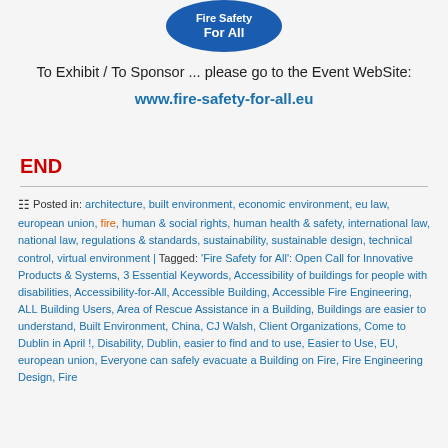[Figure (logo): Blue circular logo with 'For All' text, partially visible at top]
To Exhibit / To Sponsor ... please go to the Event WebSite:
www.fire-safety-for-all.eu
END
Posted in: architecture, built environment, economic environment, eu law, european union, fire, human & social rights, human health & safety, international law, national law, regulations & standards, sustainability, sustainable design, technical control, virtual environment | Tagged: 'Fire Safety for All': Open Call for Innovative Products & Systems, 3 Essential Keywords, Accessibility of buildings for people with disabilities, Accessibility-for-All, Accessible Building, Accessible Fire Engineering, ALL Building Users, Area of Rescue Assistance in a Building, Buildings are easier to understand, Built Environment, China, CJ Walsh, Client Organizations, Come to Dublin in April !, Disability, Dublin, easier to find and to use, Easier to Use, EU, european union, Everyone can safely evacuate a Building on Fire, Fire Engineering Design, Fire